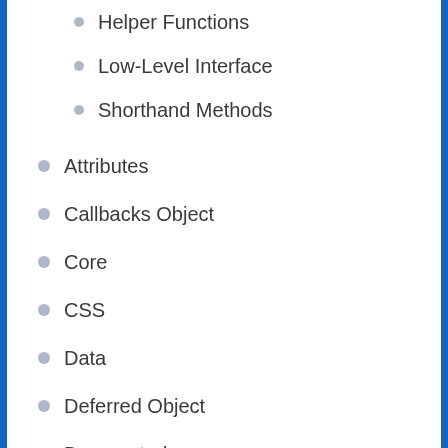Helper Functions
Low-Level Interface
Shorthand Methods
Attributes
Callbacks Object
Core
CSS
Data
Deferred Object
Deprecated
Deprecated 1.3
Deprecated 1.7
Deprecated 1.8
Deprecated 1.9